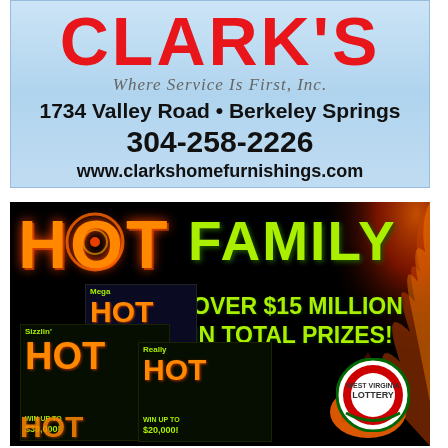[Figure (illustration): Clark's Where Service Is First, Inc. advertisement. Light blue gradient background. Red bold 'CLARK'S' heading. Italic gray 'Where Service Is First, Inc.' tagline. Bold black text: '1734 Valley Road • Berkeley Springs', '304-258-2226', 'www.clarkshomefurnishings.com'.]
[Figure (illustration): West Virginia Lottery HOT Family scratch ticket advertisement. Black background with fire/flame graphics. Orange 'HOT' text and green 'FAMILY' text. Multiple scratch ticket images (Mega Hot, Sizzlin' Hot, Really Hot). Yellow-green text 'OVER $15 MILLION IN TOTAL PRIZES!' West Virginia Lottery circular logo with flame.]